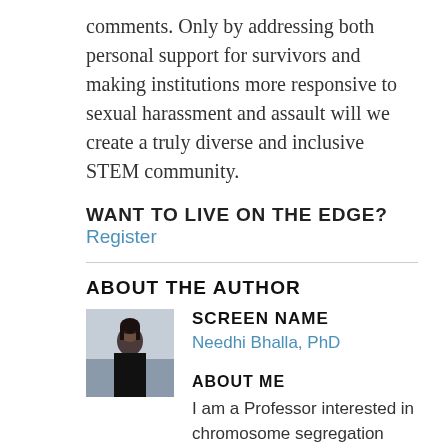comments. Only by addressing both personal support for survivors and making institutions more responsive to sexual harassment and assault will we create a truly diverse and inclusive STEM community.
WANT TO LIVE ON THE EDGE? Register
ABOUT THE AUTHOR
[Figure (photo): Profile photo of Needhi Bhalla, PhD — a person with dark hair against an indoor background]
SCREEN NAME
Needhi Bhalla, PhD
ABOUT ME
I am a Professor interested in chromosome segregation during development and sexual reproduction